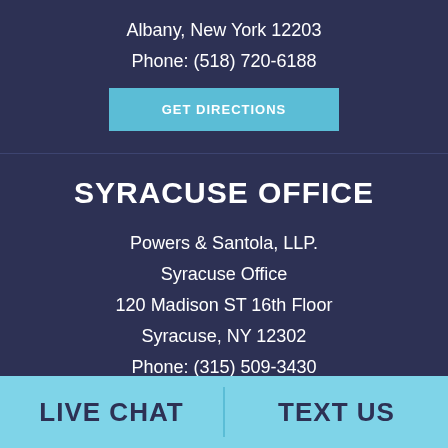Albany, New York 12203
Phone: (518) 720-6188
GET DIRECTIONS
SYRACUSE OFFICE
Powers & Santola, LLP.
Syracuse Office
120 Madison ST 16th Floor
Syracuse, NY 12302
Phone: (315) 509-3430
GET DIRECTIONS
LIVE CHAT
TEXT US